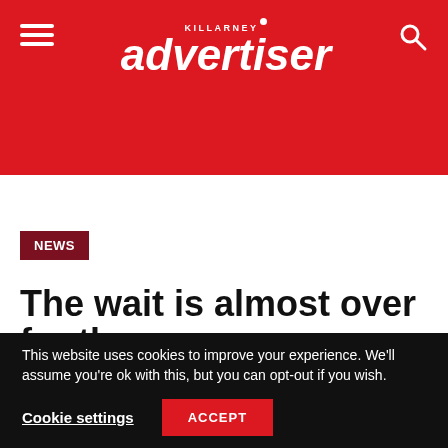Killarney Advertiser
NEWS
The wait is almost over for the
This website uses cookies to improve your experience. We'll assume you're ok with this, but you can opt-out if you wish.
Cookie settings  ACCEPT